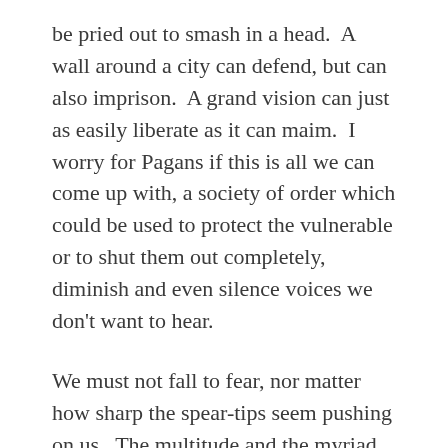be pried out to smash in a head.  A wall around a city can defend, but can also imprison.  A grand vision can just as easily liberate as it can maim.  I worry for Pagans if this is all we can come up with, a society of order which could be used to protect the vulnerable or to shut them out completely, diminish and even silence voices we don’t want to hear.
We must not fall to fear, nor matter how sharp the spear-tips seem pushing on us.  The multitude and the myriad may be raucous and disorganized, but so are forests and the wilds.  They–not the structures and institutions of the